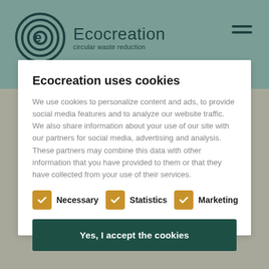Ecocreation — circular waste reduction
Ecocreation uses cookies
We use cookies to personalize content and ads, to provide social media features and to analyze our website traffic. We also share information about your use of our site with our partners for social media, advertising and analysis. These partners may combine this data with other information that you have provided to them or that they have collected from your use of their services.
Necessary
Statistics
Marketing
Yes, I accept the cookies